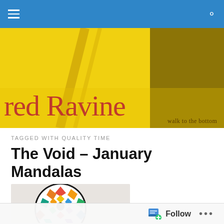red Ravine — walk to the bottom
TAGGED WITH QUALITY TIME
The Void – January Mandalas
[Figure (photo): Circular mandala artwork with colorful geometric diamond and square shapes arranged in a ring pattern, featuring many vivid colors]
Follow ...